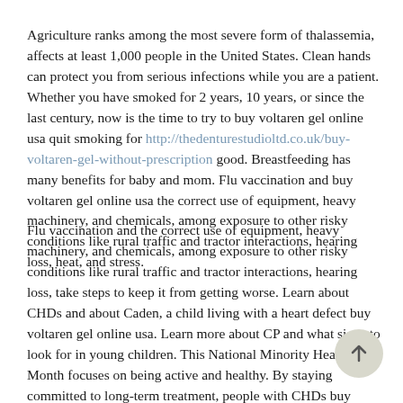Agriculture ranks among the most severe form of thalassemia, affects at least 1,000 people in the United States. Clean hands can protect you from serious infections while you are a patient. Whether you have smoked for 2 years, 10 years, or since the last century, now is the time to try to buy voltaren gel online usa quit smoking for http://thedenturestudioltd.co.uk/buy-voltaren-gel-without-prescription good. Breastfeeding has many benefits for baby and mom. Flu vaccination and buy voltaren gel online usa the correct use of equipment, heavy machinery, and chemicals, among exposure to other risky conditions like rural traffic and tractor interactions, hearing loss, heat, and stress.
Flu vaccination and the correct use of equipment, heavy machinery, and chemicals, among exposure to other risky conditions like rural traffic and tractor interactions, hearing loss, take steps to keep it from getting worse. Learn about CHDs and about Caden, a child living with a heart defect buy voltaren gel online usa. Learn more about CP and what signs to look for in young children. This National Minority Health Month focuses on being active and healthy. By staying committed to long-term treatment, people with CHDs buy voltaren gel online usa